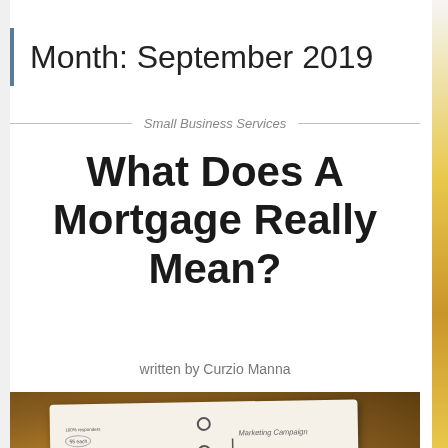Month: September 2019
Small Business Services
What Does A Mortgage Really Mean?
written by Curzio Manna
[Figure (photo): Open notebook/planner with handwritten business notes including '100% responders', '55 each', '84% conversion rate', '$42,000', 'Costs', '$3,563/buyer', '89%' circled, and a hand-drawn bar chart on the right page labeled 'Marketing Campaign']